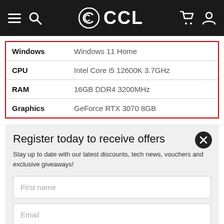CCL - navigation header with hamburger menu, search, logo, basket and account icons
| Spec | Value |
| --- | --- |
| Windows | Windows 11 Home |
| CPU | Intel Core i5 12600K 3.7GHz |
| RAM | 16GB DDR4 3200MHz |
| Graphics | GeForce RTX 3070 8GB |
Register today to receive offers
Stay up to date with our latest discounts, tech news, vouchers and exclusive giveaways!
First name
Email
Subscribe